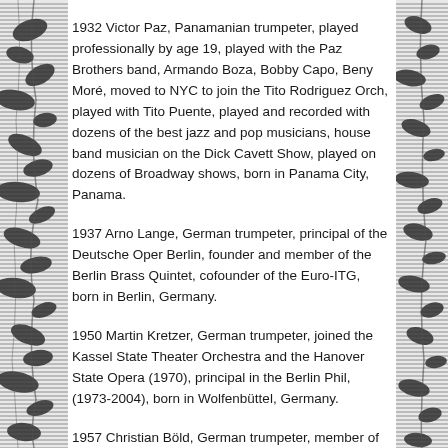1932 Victor Paz, Panamanian trumpeter, played professionally by age 19, played with the Paz Brothers band, Armando Boza, Bobby Capo, Beny Moré, moved to NYC to join the Tito Rodriguez Orch, played with Tito Puente, played and recorded with dozens of the best jazz and pop musicians, house band musician on the Dick Cavett Show, played on dozens of Broadway shows, born in Panama City, Panama.
1937 Arno Lange, German trumpeter, principal of the Deutsche Oper Berlin, founder and member of the Berlin Brass Quintet, cofounder of the Euro-ITG, born in Berlin, Germany.
1950 Martin Kretzer, German trumpeter, joined the Kassel State Theater Orchestra and the Hanover State Opera (1970), principal in the Berlin Phil, (1973-2004), born in Wolfenbüttel, Germany.
1957 Christian Böld, German trumpeter, member of the Bayerische Staatsoper, principal of Bayerisches Staatsorchester München, born in Augsburg, Germany.